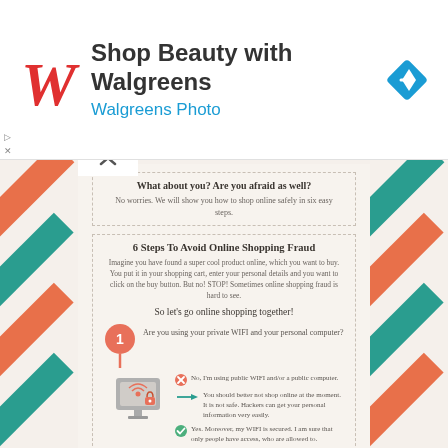[Figure (logo): Walgreens W logo in red cursive]
Shop Beauty with Walgreens
Walgreens Photo
[Figure (illustration): Blue diamond navigation arrow icon]
▷
✕
What about you? Are you afraid as well?
No worries. We will show you how to shop online safely in six easy steps.
6 Steps To Avoid Online Shopping Fraud
Imagine you have found a super cool product online, which you want to buy. You put it in your shopping cart, enter your personal details and you want to click on the buy button. But no! STOP! Sometimes online shopping fraud is hard to see.
So let's go online shopping together!
1 Are you using your private WIFI and your personal computer?
No, I'm using public WIFI and/or a public computer.
You should better not shop online at the moment. It is not safe. Hackers can get your personal information very easily.
Yes. Moreover, my WIFI is secured. I am sure that only people have access, who are allowed to.